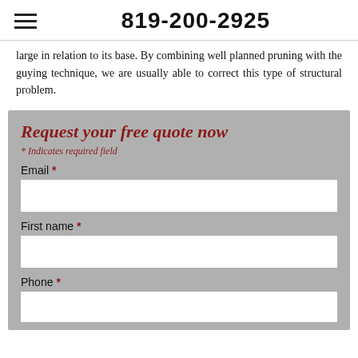819-200-2925
large in relation to its base. By combining well planned pruning with the guying technique, we are usually able to correct this type of structural problem.
Request your free quote now
* Indicates required field
Email *
First name *
Phone *